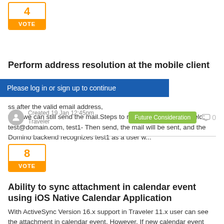[Figure (other): Vote box showing number 4 with orange VOTE button]
Perform address resolution at the mobile client
Please log in or sign up to continue
ss after the valid email address, then we can still send the mail.Steps to reproduce:- In the To field: test@domain.com, test1- Then send, the mail will be sent, and the Domino backend recognizes test1 as a user w...
Created 19 Jan 12:45pm
Traveler
Future Consideration
0
[Figure (other): Vote box showing number 8 with orange VOTE button]
Ability to sync attachment in calendar event using iOS Native Calendar Application
With ActiveSync Version 16.x support in Traveler 11.x user can see the attachment in calendar event. However, If new calendar event with attachment is created via iOS Native Calendar App, the attachment does not sync. The added attachment can be s...